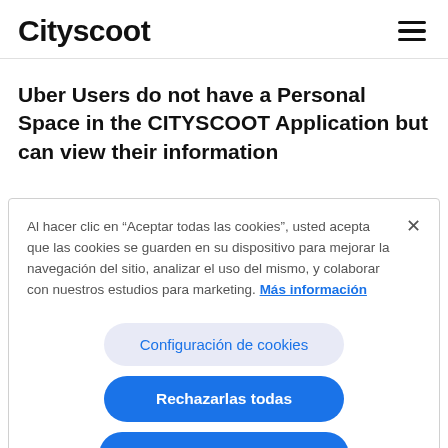Cityscoot
Uber Users do not have a Personal Space in the CITYSCOOT Application but can view their information
Al hacer clic en “Aceptar todas las cookies”, usted acepta que las cookies se guarden en su dispositivo para mejorar la navegación del sitio, analizar el uso del mismo, y colaborar con nuestros estudios para marketing. Más información
Configuración de cookies
Rechazarlas todas
Aceptar todas las cookies